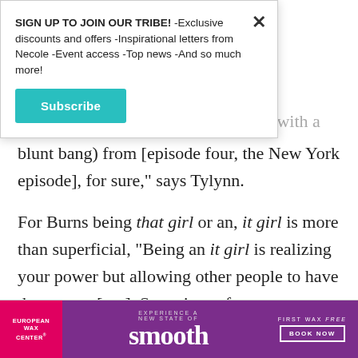[Figure (screenshot): Modal popup with subscribe call-to-action: 'SIGN UP TO JOIN OUR TRIBE! -Exclusive discounts and offers -Inspirational letters from Necole -Event access -Top news -And so much more!' with a teal Subscribe button and a close X button.]
Dephne (prev orange), straightening with a blunt bang) from [episode four, the New York episode], for sure," says Tylynn.
For Burns being that girl or an, it girl is more than superficial, "Being an it girl is realizing your power but allowing other people to have that power [too]. So a piece of your power. To me, that's an, it girl."
[Figure (photo): European Wax Center advertisement banner: purple background with pink left panel showing 'EUROPEAN WAX CENTER' logo, center text 'EXPERIENCE A NEW STATE OF smooth', right side 'FIRST WAX free BOOK NOW' button.]